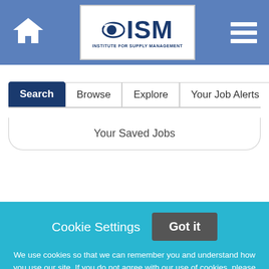[Figure (screenshot): ISM Institute for Supply Management website header with home icon, ISM logo, and hamburger menu on blue background]
Search | Browse | Explore | Your Job Alerts
Your Saved Jobs
Keywords
Cookie Settings  Got it
We use cookies so that we can remember you and understand how you use our site. If you do not agree with our use of cookies, please change the current settings found in our Cookie Policy. Otherwise, you agree to the use of the cookies as they are currently set.